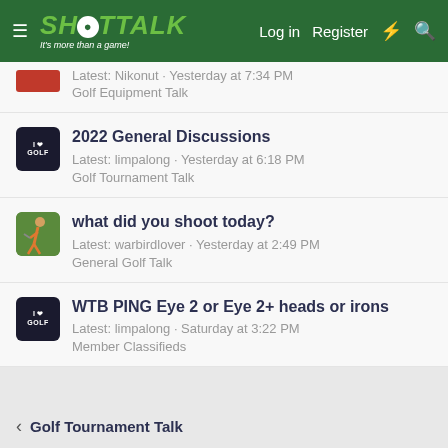SHOTTALK - It's more than a game! Log in Register
Latest: Nikonut · Yesterday at 7:34 PM
Golf Equipment Talk
2022 General Discussions
Latest: limpalong · Yesterday at 6:18 PM
Golf Tournament Talk
what did you shoot today?
Latest: warbirdlover · Yesterday at 2:49 PM
General Golf Talk
WTB PING Eye 2 or Eye 2+ heads or irons
Latest: limpalong · Saturday at 3:22 PM
Member Classifieds
< Golf Tournament Talk